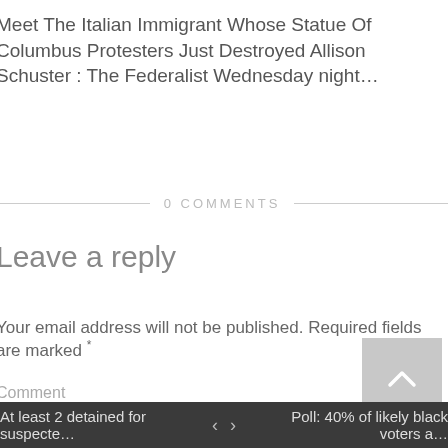Meet The Italian Immigrant Whose Statue Of Columbus Protesters Just Destroyed Allison Schuster : The Federalist Wednesday night…
0 COMMENTS
Leave a reply
Your email address will not be published. Required fields are marked *
Comment
At least 2 detained for suspecte… < > Poll: 40% of likely black voters a…